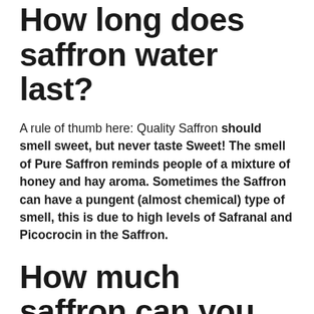How long does saffron water last?
A rule of thumb here: Quality Saffron should smell sweet, but never taste Sweet! The smell of Pure Saffron reminds people of a mixture of honey and hay aroma. Sometimes the Saffron can have a pungent (almost chemical) type of smell, this is due to high levels of Safranal and Picocrocin in the Saffron.
How much saffron can you eat a day?
As a dietary supplement, people can safely take up to 1.5 grams of saffron per day